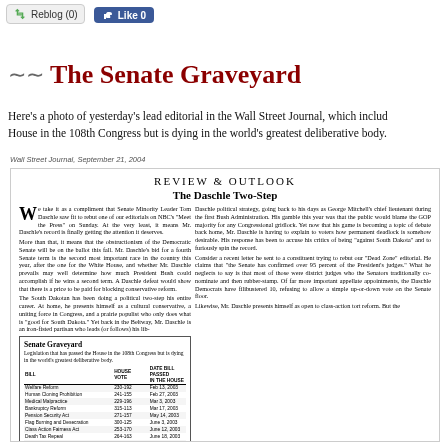[Figure (screenshot): Reblog (0) and Like 0 social sharing buttons at top of blog post]
The Senate Graveyard
Here's a photo of yesterday's lead editorial in the Wall Street Journal, which includes legislation that has passed the House in the 108th Congress but is dying in the world's greatest deliberative body.
Wall Street Journal, September 21, 2004
[Figure (screenshot): Scanned WSJ editorial page showing Review & Outlook: The Daschle Two-Step article with Senate Graveyard table listing bills that passed the House but died in Senate, including Welfare Reform, Human Cloning Prohibition, Medical Malpractice, Bankruptcy Reform, Pension Security Act, Flag Burning and Desecration, Class Action Fairness Act, Death Tax Repeal, Head Start Reform, Energy Bill, Marriage Penalty Repeal, 10% Tax Bracket Permanent]